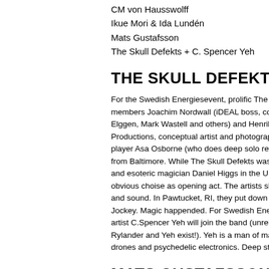CM von Hausswolff
Ikue Mori & Ida Lundén
Mats Gustafsson
The Skull Defekts + C. Spencer Yeh
THE SKULL DEFEKTS
For the Swedish Energiesevent, prolific The Sk members Joachim Nordwall (iDEAL boss, colla Elggen, Mark Wastell and others) and Henrik P Productions, conceptual artist and photographe player Asa Osborne (who does deep solo reco from Baltimore. While The Skull Defekts was o and esoteric magician Daniel Higgs in the US i obvious choise as opening act. The artists sha and sound. In Pawtucket, RI, they put down th Jockey. Magic happended. For Swedish Energ artist C.Spencer Yeh will join the band (unrelea Rylander and Yeh exist!). Yeh is a man of magi drones and psychedelic electronics. Deep stuf
MATS GUSTAFSSON